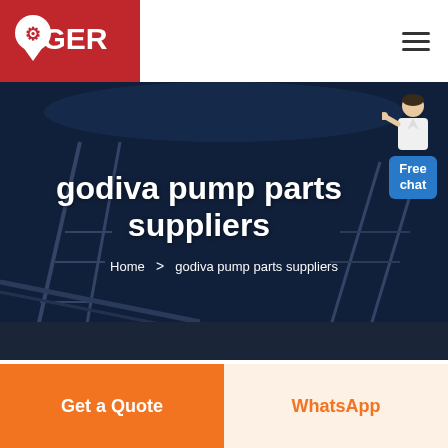[Figure (logo): GER logo with wrench/pin icon on red background]
godiva pump parts suppliers
Home > godiva pump parts suppliers
[Figure (illustration): Free chat widget with person figure and blue badge]
Get a Quote
WhatsApp